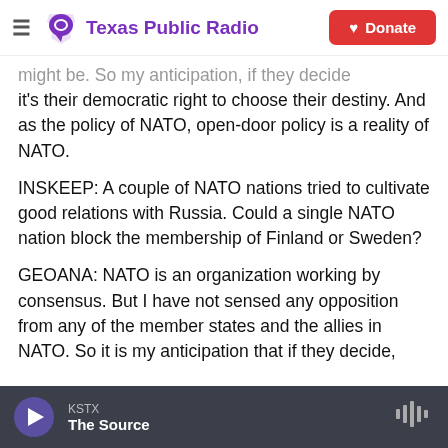[Figure (logo): Texas Public Radio logo with purple Texas/speech bubble icon and purple text, plus red Donate button with heart icon]
might be. So my anticipation, if they decide it's their democratic right to choose their destiny. And as the policy of NATO, open-door policy is a reality of NATO.
INSKEEP: A couple of NATO nations tried to cultivate good relations with Russia. Could a single NATO nation block the membership of Finland or Sweden?
GEOANA: NATO is an organization working by consensus. But I have not sensed any opposition from any of the member states and the allies in NATO. So it is my anticipation that if they decide,
KSTX
The Source